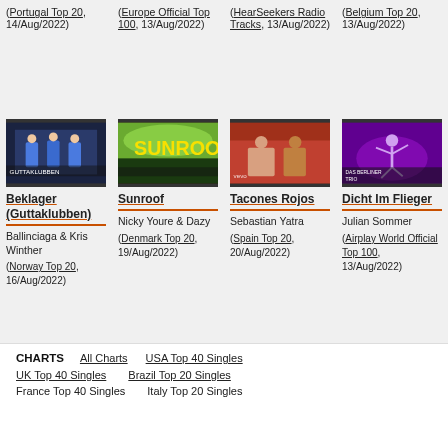(Portugal Top 20, 14/Aug/2022)
(Europe Official Top 100, 13/Aug/2022)
(HearSeekers Radio Tracks, 13/Aug/2022)
(Belgium Top 20, 13/Aug/2022)
[Figure (photo): Thumbnail for Beklager (Guttaklubben)]
Beklager (Guttaklubben)
Ballinciaga & Kris Winther
(Norway Top 20, 16/Aug/2022)
[Figure (photo): Thumbnail for Sunroof]
Sunroof
Nicky Youre & Dazy
(Denmark Top 20, 19/Aug/2022)
[Figure (photo): Thumbnail for Tacones Rojos]
Tacones Rojos
Sebastian Yatra
(Spain Top 20, 20/Aug/2022)
[Figure (photo): Thumbnail for Dicht Im Flieger]
Dicht Im Flieger
Julian Sommer
(Airplay World Official Top 100, 13/Aug/2022)
CHARTS  All Charts  USA Top 40 Singles  UK Top 40 Singles  Brazil Top 20 Singles  France Top 40 Singles  Italy Top 20 Singles